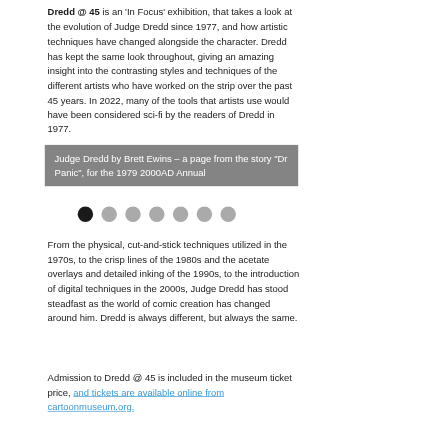Dredd @ 45 is an 'In Focus' exhibition, that takes a look at the evolution of Judge Dredd since 1977, and how artistic techniques have changed alongside the character. Dredd has kept the same look throughout, giving an amazing insight into the contrasting styles and techniques of the different artists who have worked on the strip over the past 45 years. In 2022, many of the tools that artists use would have been considered sci-fi by the readers of Dredd in 1977.
Judge Dredd by Brett Ewins – a page from the story "Dr Panic", for the 1979 2000AD Annual
[Figure (other): Carousel navigation dots — 7 dots, first one black/active, rest gray]
From the physical, cut-and-stick techniques utilized in the 1970s, to the crisp lines of the 1980s and the acetate overlays and detailed inking of the 1990s, to the introduction of digital techniques in the 2000s, Judge Dredd has stood steadfast as the world of comic creation has changed around him. Dredd is always different, but always the same.
Admission to Dredd @ 45 is included in the museum ticket price, and tickets are available online from cartoonmuseum.org.